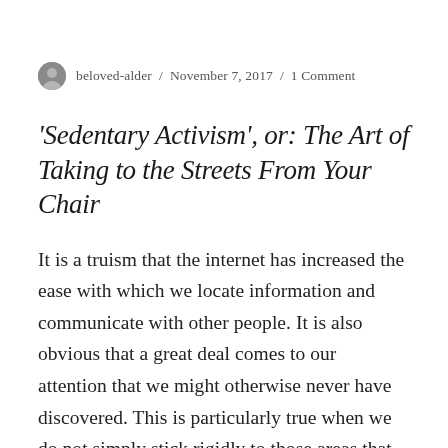beloved-alder / November 7, 2017 / 1 Comment
‘Sedentary Activism’, or: The Art of Taking to the Streets From Your Chair
It is a truism that the internet has increased the ease with which we locate information and communicate with other people. It is also obvious that a great deal comes to our attention that we might otherwise never have discovered. This is particularly true when we do not simply stick rigidly to those areas that please us, but occasionally venture, via a chance link, a chance mention, to other realms.